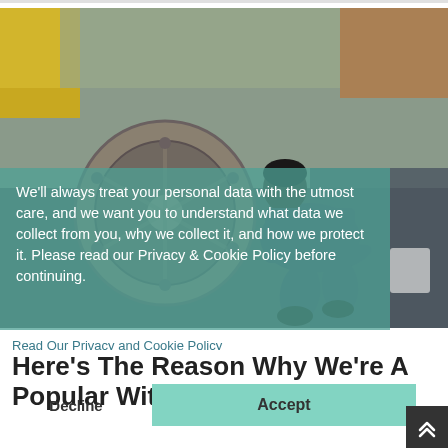[Figure (photo): A worker in dark clothing crouching down working on road/construction equipment. A large circular metal component is visible in the foreground. A yellow/green heavy machine is in the background. The scene is outdoors on wet pavement.]
We'll always treat your personal data with the utmost care, and we want you to understand what data we collect from you, why we collect it, and how we protect it. Please read our Privacy & Cookie Policy before continuing.
Read Our Privacy and Cookie Policy
Here's The Reason Why We're A Popular Within Barnsley
Decline
Accept